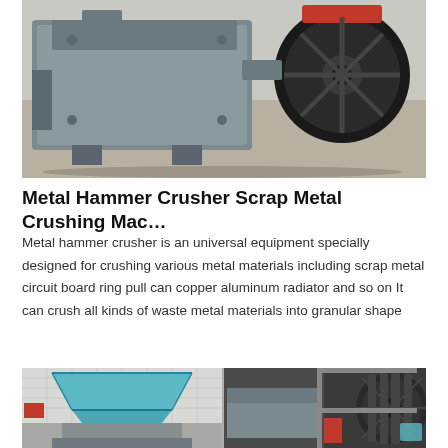[Figure (photo): Metal hammer crusher machine - close-up of the mechanical head with flywheel/pulley on the right side, gray industrial equipment on concrete surface]
Metal Hammer Crusher Scrap Metal Crushing Mac…
Metal hammer crusher is an universal equipment specially designed for crushing various metal materials including scrap metal circuit board ring pull can copper aluminum radiator and so on It can crush all kinds of waste metal materials into granular shape
[Figure (photo): Two photos side by side: left shows metal hammer crusher machine with blue-painted feed hopper opening and gray body in industrial warehouse; right shows large pulley/wheel mechanism of the crusher]